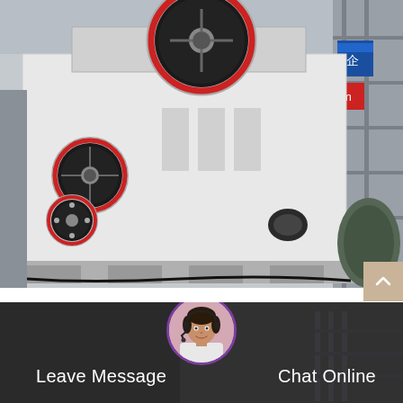[Figure (photo): Industrial stone crushing machine / jaw crusher photographed in a factory setting. Large white machine with red and black flywheel visible on the left side. Chinese signage in the background.]
Stone Crushing Plantstone Crushing Plant Pricestone
Stone crushing plant mainly includes vibrating feeder jaw crusher cone crusher impact crusher vertical shaft impact crusher vibrating screen belt...
Leave Message   Chat Online